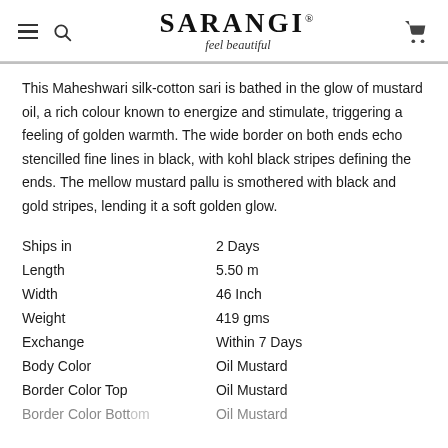SARANGI® feel beautiful
This Maheshwari silk-cotton sari is bathed in the glow of mustard oil, a rich colour known to energize and stimulate, triggering a feeling of golden warmth. The wide border on both ends echo stencilled fine lines in black, with kohl black stripes defining the ends. The mellow mustard pallu is smothered with black and gold stripes, lending it a soft golden glow.
| Ships in | 2 Days |
| Length | 5.50 m |
| Width | 46 Inch |
| Weight | 419 gms |
| Exchange | Within 7 Days |
| Body Color | Oil Mustard |
| Border Color Top | Oil Mustard |
| Border Color Bottom | Oil Mustard |